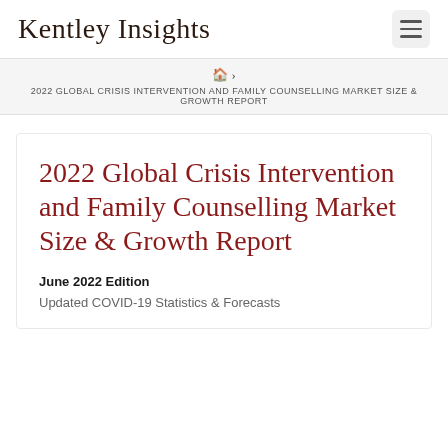Kentley Insights
2022 GLOBAL CRISIS INTERVENTION AND FAMILY COUNSELLING MARKET SIZE & GROWTH REPORT
2022 Global Crisis Intervention and Family Counselling Market Size & Growth Report
June 2022 Edition
Updated COVID-19 Statistics & Forecasts